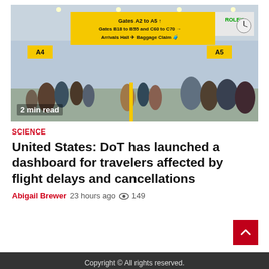[Figure (photo): Busy airport terminal interior showing gate signs A4 and A5, yellow overhead direction signs reading 'Gates A2 to A5', 'Gates B18 to B55 and C60 to C70', 'Arrivals Hall / Baggage Claim', a Rolex advertisement, a clock, and crowds of travelers with luggage. Badge reads '2 min read'.]
SCIENCE
United States: DoT has launched a dashboard for travelers affected by flight delays and cancellations
Abigail Brewer   23 hours ago   149